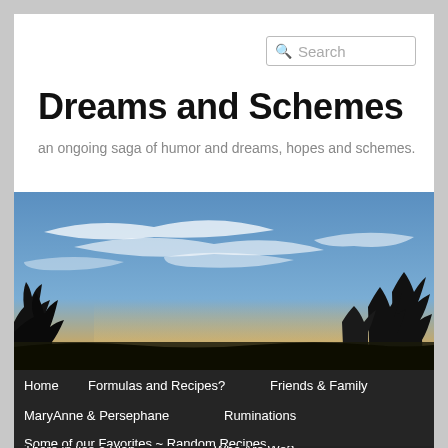Dreams and Schemes
an ongoing saga of humor and dreams, hopes and schemes.
[Figure (photo): Outdoor sky photo with blue sky, wispy clouds, and tree silhouettes in the foreground at dusk/twilight.]
Home
Formulas and Recipes?
Friends & Family
MaryAnne & Persephane
Ruminations
Some of our Favorites ~ Random Recipes
There in lies a Plan
Who Are We?